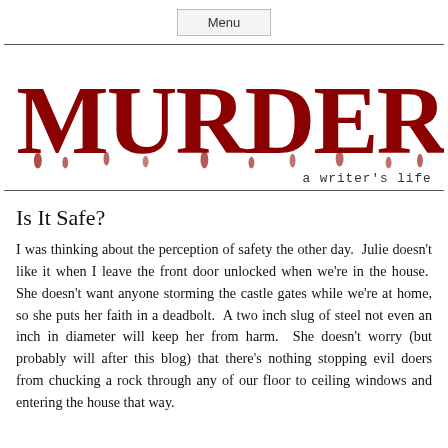Menu
[Figure (logo): Murderati logo in dark blood-red dripping horror font with tagline 'a writer's life' in monospace below]
Is It Safe?
I was thinking about the perception of safety the other day. Julie doesn't like it when I leave the front door unlocked when we're in the house. She doesn't want anyone storming the castle gates while we're at home, so she puts her faith in a deadbolt. A two inch slug of steel not even an inch in diameter will keep her from harm. She doesn't worry (but probably will after this blog) that there's nothing stopping evil doers from chucking a rock through any of our floor to ceiling windows and entering the house that way.